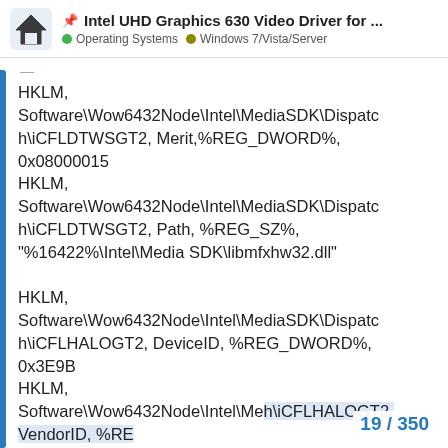📌 Intel UHD Graphics 630 Video Driver for ... • Operating Systems • Windows 7/Vista/Server
HKLM, Software\Wow6432Node\Intel\MediaSDK\Dispatch\iCFLDTWSGT2, Merit,%REG_DWORD%, 0x08000015
HKLM, Software\Wow6432Node\Intel\MediaSDK\Dispatch\iCFLDTWSGT2, Path, %REG_SZ%, "%16422%\Intel\Media SDK\libmfxhw32.dll"

HKLM, Software\Wow6432Node\Intel\MediaSDK\Dispatch\iCFLHALOGT2, DeviceID, %REG_DWORD%, 0x3E9B
HKLM, Software\Wow6432Node\Intel\Me...\iCFLHALOGT2, VendorID, %RE...
19 / 350